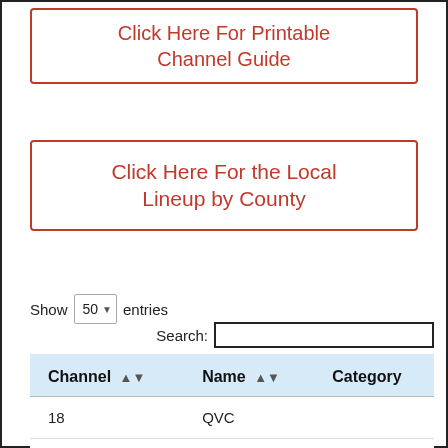Click Here For Printable Channel Guide
Click Here For the Local Lineup by County
Show 50 entries
Search:
| Channel | Name | Category |
| --- | --- | --- |
| 18 | QVC |  |
| 43 | HSN |  |